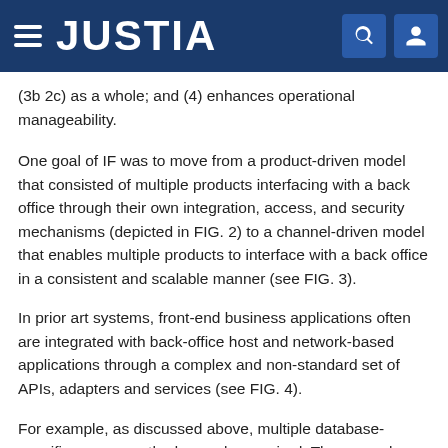JUSTIA
(3b 2c) as a whole; and (4) enhances operational manageability.
One goal of IF was to move from a product-driven model that consisted of multiple products interfacing with a back office through their own integration, access, and security mechanisms (depicted in FIG. 2) to a channel-driven model that enables multiple products to interface with a back office in a consistent and scalable manner (see FIG. 3).
In prior art systems, front-end business applications often are integrated with back-office host and network-based applications through a complex and non-standard set of APIs, adapters and services (see FIG. 4).
For example, as discussed above, multiple database-specific access methods may be required. There may be